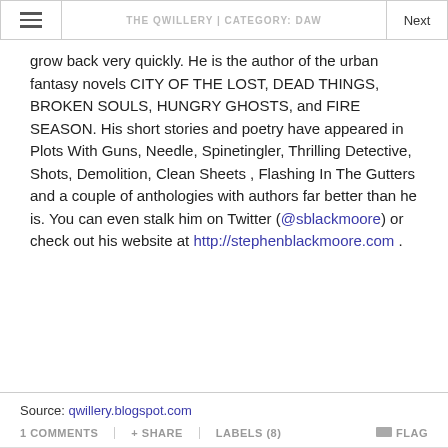THE QWILLERY | CATEGORY: DAW
grow back very quickly. He is the author of the urban fantasy novels CITY OF THE LOST, DEAD THINGS, BROKEN SOULS, HUNGRY GHOSTS, and FIRE SEASON. His short stories and poetry have appeared in Plots With Guns, Needle, Spinetingler, Thrilling Detective, Shots, Demolition, Clean Sheets , Flashing In The Gutters and a couple of anthologies with authors far better than he is. You can even stalk him on Twitter (@sblackmoore) or check out his website at http://stephenblackmoore.com .
Source: qwillery.blogspot.com
1 COMMENTS  + SHARE  LABELS (8)  FLAG